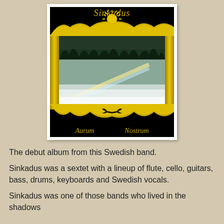[Figure (illustration): Album cover for 'Aurum Nostrum' by Sinkadus. Black background with ornate gold decorative frame featuring sun at top, scrollwork borders. Center contains a nature photo of a waterfall/mist scene with rainbow effect. Bottom has decorative gold wave pattern with bat silhouette. Text 'Sinkadus' in italic gold at top, 'Aurum' and 'Nostrum' in italic gold at bottom corners.]
The debut album from this Swedish band.
Sinkadus was a sextet with a lineup of flute, cello, guitars, bass, drums, keyboards and Swedish vocals.
Sinkadus was one of those bands who lived in the shadows